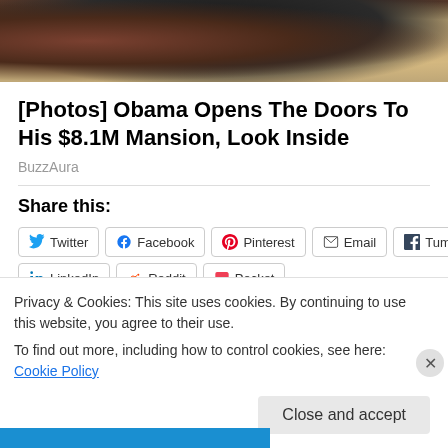[Figure (photo): Cropped photo of people, partially visible torsos and heads at top of page]
[Photos] Obama Opens The Doors To His $8.1M Mansion, Look Inside
BuzzAura
Share this:
Twitter Facebook Pinterest Email Tumblr LinkedIn Reddit Pocket
Privacy & Cookies: This site uses cookies. By continuing to use this website, you agree to their use.
To find out more, including how to control cookies, see here: Cookie Policy
Close and accept